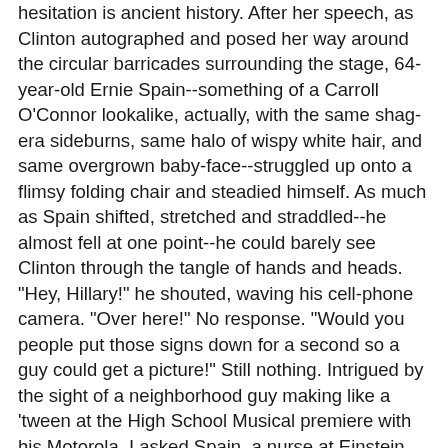hesitation is ancient history. After her speech, as Clinton autographed and posed her way around the circular barricades surrounding the stage, 64-year-old Ernie Spain--something of a Carroll O'Connor lookalike, actually, with the same shag-era sideburns, same halo of wispy white hair, and same overgrown baby-face--struggled up onto a flimsy folding chair and steadied himself. As much as Spain shifted, stretched and straddled--he almost fell at one point--he could barely see Clinton through the tangle of hands and heads. "Hey, Hillary!" he shouted, waving his cell-phone camera. "Over here!" No response. "Would you people put those signs down for a second so a guy could get a picture!" Still nothing. Intrigued by the sight of a neighborhood guy making like a 'tween at the High School Musical premiere with his Motorola, I asked Spain, a nurse at Einstein Hospital with two kids in college, if he'd always supported Hillary. His answer was revealing. "In the beginning I gave them both an equal look," he said. "But Obama is always talking about hope, and Hillary has the details. Where are his details, you know?" I asked for an example. "Well, take the retirement age," he replied. "I'm lucky. I can retire in two years, three years. But they're talking about raising it to 70. Now, you,